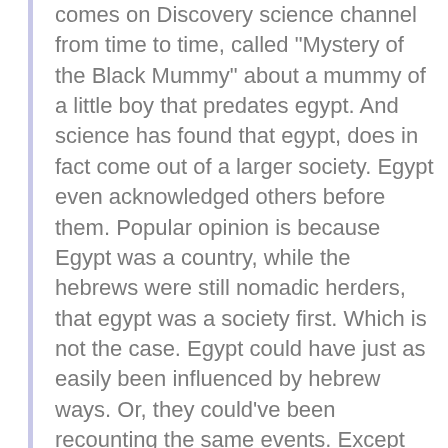comes on Discovery science channel from time to time, called "Mystery of the Black Mummy" about a mummy of a little boy that predates egypt. And science has found that egypt, does in fact come out of a larger society. Egypt even acknowledged others before them. Popular opinion is because Egypt was a country, while the hebrews were still nomadic herders, that egypt was a society first. Which is not the case. Egypt could have just as easily been influenced by hebrew ways. Or, they could've been recounting the same events. Except one, was recorded before the other being that hebrews were mostly illiterate nomads passing tradition orally. But was that the case?